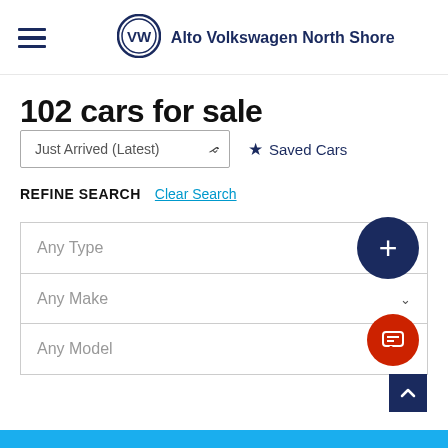Alto Volkswagen North Shore
102 cars for sale
Just Arrived (Latest) ✓  ★ Saved Cars
REFINE SEARCH  Clear Search
Any Type
Any Make
Any Model